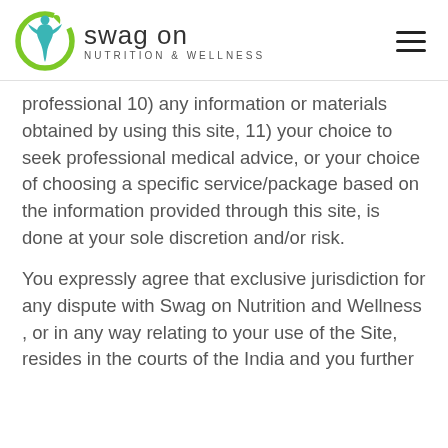swag on Nutrition & Wellness
professional 10) any information or materials obtained by using this site, 11) your choice to seek professional medical advice, or your choice of choosing a specific service/package based on the information provided through this site, is done at your sole discretion and/or risk.
You expressly agree that exclusive jurisdiction for any dispute with Swag on Nutrition and Wellness , or in any way relating to your use of the Site, resides in the courts of the India and you further